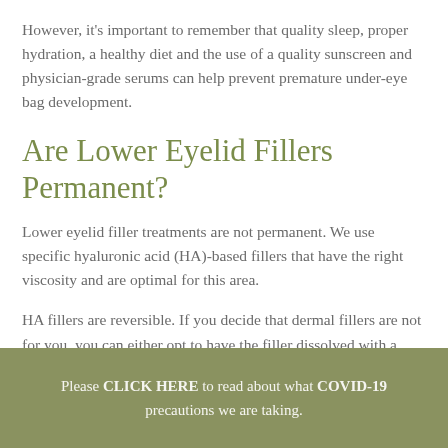However, it's important to remember that quality sleep, proper hydration, a healthy diet and the use of a quality sunscreen and physician-grade serums can help prevent premature under-eye bag development.
Are Lower Eyelid Fillers Permanent?
Lower eyelid filler treatments are not permanent. We use specific hyaluronic acid (HA)-based fillers that have the right viscosity and are optimal for this area.
HA fillers are reversible. If you decide that dermal fillers are not for you, you can either opt to have the filler dissolved with a special enzyme or simply wait until your body naturally breaks it down.
Please CLICK HERE to read about what COVID-19 precautions we are taking.